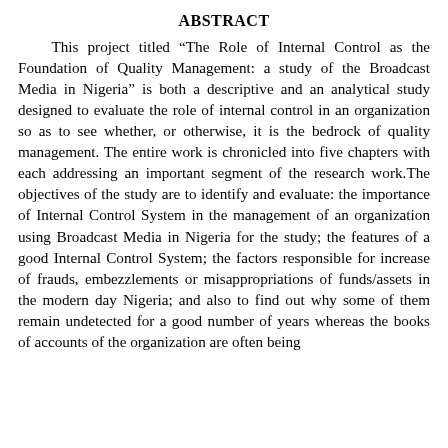ABSTRACT
This project titled “The Role of Internal Control as the Foundation of Quality Management: a study of the Broadcast Media in Nigeria” is both a descriptive and an analytical study designed to evaluate the role of internal control in an organization so as to see whether, or otherwise, it is the bedrock of quality management. The entire work is chronicled into five chapters with each addressing an important segment of the research work.The objectives of the study are to identify and evaluate: the importance of Internal Control System in the management of an organization using Broadcast Media in Nigeria for the study; the features of a good Internal Control System; the factors responsible for increase of frauds, embezzlements or misappropriations of funds/assets in the modern day Nigeria; and also to find out why some of them remain undetected for a good number of years whereas the books of accounts of the organization are often being